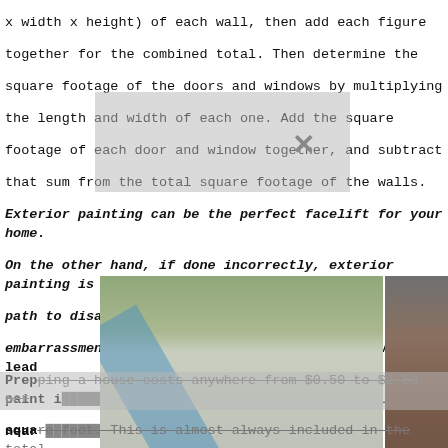x width x height) of each wall, then add each figure together for the combined total. Then determine the square footage of the doors and windows by multiplying the length and width of each one. Add the square footage of each door and window together, and subtract that sum from the total square footage of the walls. Exterior painting can be the perfect facelift for your home. On the other hand, if done incorrectly, exterior painting is a path to disappointment (if improperly applied), embarrassment (for the wrong shade), or legal woes (if lead paint is involved). Ask around for recommendations of painters near you to find the right person for your exterior project.
Most of...
However... each includes... s to do the job... structu... project...
[Figure (photo): Three photos showing people falling off or working on ladders near houses during exterior painting projects.]
Prepping a house costs anywhere from $0.50 to $2.50 per square foot. This is almost always included in the total project price. However, the DIYer might negotiate some discounts for completing this work on their own. Be warned, proper prep is key to the quality and durability of the finish. If